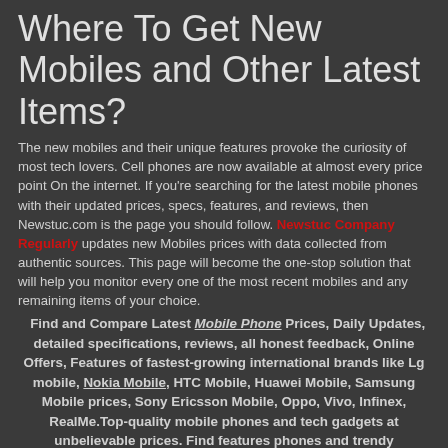Where To Get New Mobiles and Other Latest Items?
The new mobiles and their unique features provoke the curiosity of most tech lovers. Cell phones are now available at almost every price point On the internet. If you're searching for the latest mobile phones with their updated prices, specs, features, and reviews, then Newstuc.com is the page you should follow. Newstuc Company Regularly updates new Mobiles prices with data collected from authentic sources. This page will become the one-stop solution that will help you monitor every one of the most recent mobiles and any remaining items of your choice.
Find and Compare Latest Mobile Phone Prices, Daily Updates, detailed specifications, reviews, all honest feedback, Online Offers, Features of fastest-growing international brands like Lg mobile, Nokia Mobile, HTC Mobile, Huawei Mobile, Samsung Mobile prices, Sony Ericsson Mobile, Oppo, Vivo, Infinex, RealMe.Top-quality mobile phones and tech gadgets at unbelievable prices. Find features phones and trendy accessories right here. It is a Mobile digital marketing strategy aimed at reaching a target audience on their best smartphones, tablets,